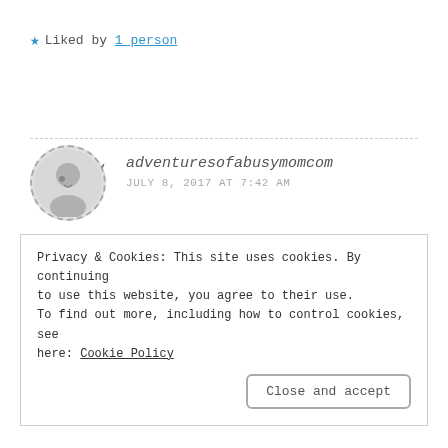★ Liked by 1 person
Reply
adventuresofabusymomcom
JULY 8, 2017 AT 7:42 AM
That is soooooo true! Depression is nothing to be ashamed of. My hope was
Privacy & Cookies: This site uses cookies. By continuing to use this website, you agree to their use.
To find out more, including how to control cookies, see here: Cookie Policy
Close and accept